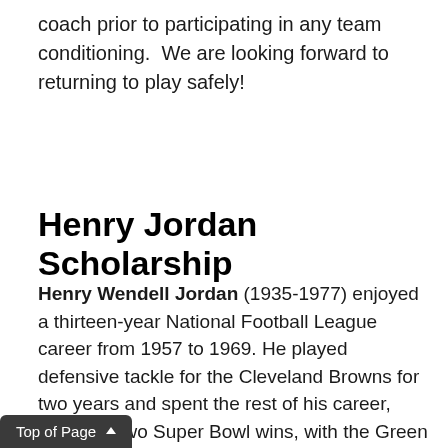coach prior to participating in any team conditioning.  We are looking forward to returning to play safely!
Henry Jordan Scholarship
Henry Wendell Jordan (1935-1977) enjoyed a thirteen-year National Football League career from 1957 to 1969. He played defensive tackle for the Cleveland Browns for two years and spent the rest of his career, including two Super Bowl wins, with the Green Bay Packers.
Born January 26, 1935 in Emporia, Virginia, Jordan attended Warwick High School. After high school, he was a Dean's List student at the University of Virginia. He was captain of the Cavalier Football Team, and runner-up in the NCM Wrestling Championships for his weight class in
Top of Page ▲